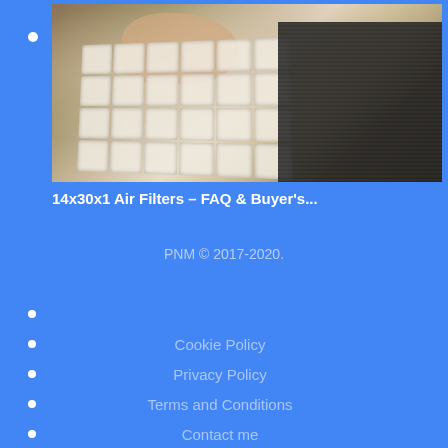[Figure (photo): A person holding an air filter being replaced, showing a white pleated filter on the left and a dark grid-style filter on the right]
14x30x1 Air Filters – FAQ & Buyer's...
PNM © 2017-2020.
Cookie Policy
Privacy Policy
Terms and Conditions
Contact me
Blog
Write For Us